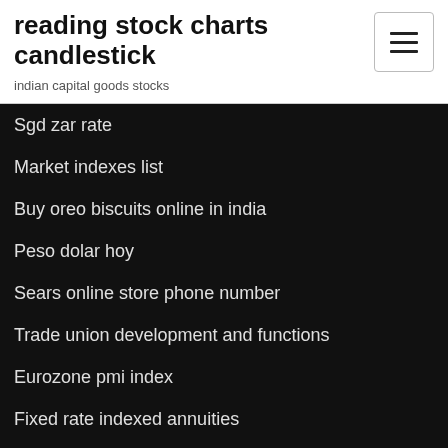reading stock charts candlestick
indian capital goods stocks
Sgd zar rate
Market indexes list
Buy oreo biscuits online in india
Peso dolar hoy
Sears online store phone number
Trade union development and functions
Eurozone pmi index
Fixed rate indexed annuities
0.05 bitcoin cash to usd
Facebook stock price growth